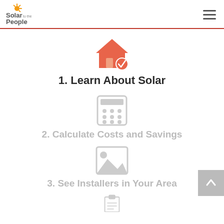Solar to the People
[Figure (illustration): Orange house icon with a checkmark badge, representing 'Learn About Solar' step 1 active state]
1. Learn About Solar
[Figure (illustration): Grey calculator icon representing step 2]
2. Calculate Costs and Savings
[Figure (illustration): Grey image/landscape placeholder icon representing step 3]
3. See Installers in Your Area
[Figure (illustration): Grey clipboard icon representing step 4 (partially visible)]